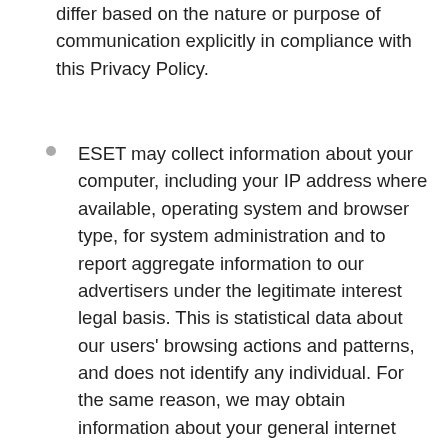differ based on the nature or purpose of communication explicitly in compliance with this Privacy Policy.
ESET may collect information about your computer, including your IP address where available, operating system and browser type, for system administration and to report aggregate information to our advertisers under the legitimate interest legal basis. This is statistical data about our users' browsing actions and patterns, and does not identify any individual. For the same reason, we may obtain information about your general internet usage by using a cookie file which is stored on the hard drive of your computer. Cookies contain information that is transferred to your computer's hard drive. They help us to improve our site and to deliver a better and more